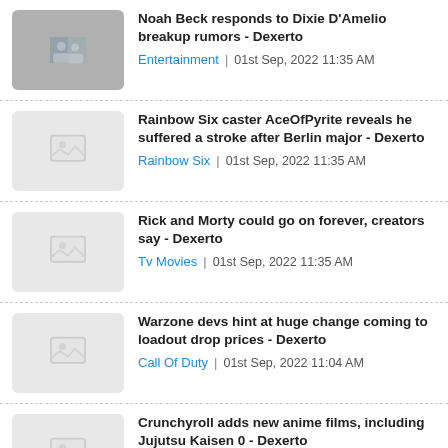Noah Beck responds to Dixie D'Amelio breakup rumors - Dexerto | Entertainment | 01st Sep, 2022 11:35 AM
Rainbow Six caster AceOfPyrite reveals he suffered a stroke after Berlin major - Dexerto | Rainbow Six | 01st Sep, 2022 11:35 AM
Rick and Morty could go on forever, creators say - Dexerto | Tv Movies | 01st Sep, 2022 11:35 AM
Warzone devs hint at huge change coming to loadout drop prices - Dexerto | Call Of Duty | 01st Sep, 2022 11:04 AM
Crunchyroll adds new anime films, including Jujutsu Kaisen 0 - Dexerto | Anime | 01st Sep, 2022 11:04 AM